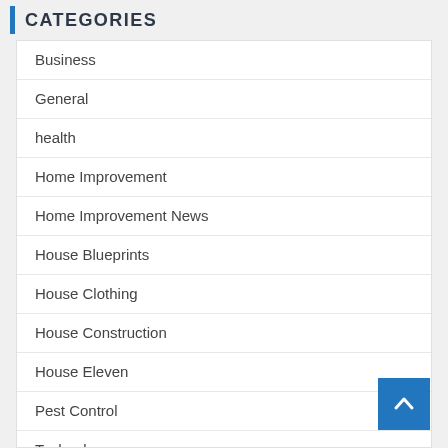CATEGORIES
Business
General
health
Home Improvement
Home Improvement News
House Blueprints
House Clothing
House Construction
House Eleven
Pest Control
Technology